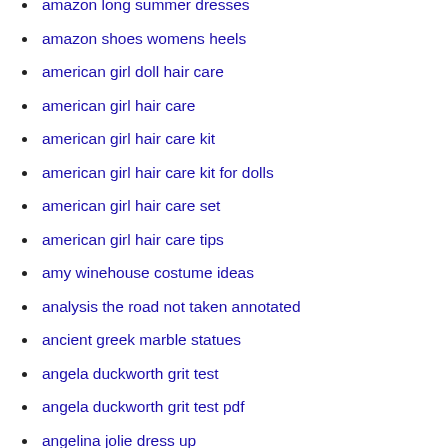amazon long summer dresses
amazon shoes womens heels
american girl doll hair care
american girl hair care
american girl hair care kit
american girl hair care kit for dolls
american girl hair care set
american girl hair care tips
amy winehouse costume ideas
analysis the road not taken annotated
ancient greek marble statues
angela duckworth grit test
angela duckworth grit test pdf
angelina jolie dress up
animal attacks in yellowstone